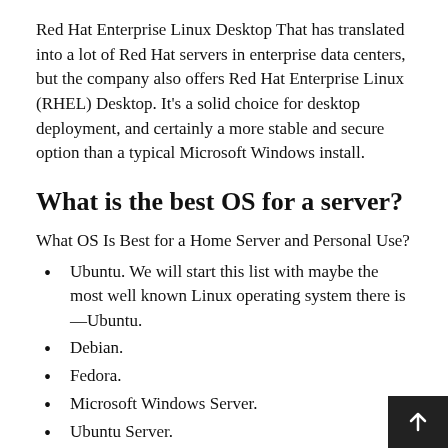Red Hat Enterprise Linux Desktop That has translated into a lot of Red Hat servers in enterprise data centers, but the company also offers Red Hat Enterprise Linux (RHEL) Desktop. It's a solid choice for desktop deployment, and certainly a more stable and secure option than a typical Microsoft Windows install.
What is the best OS for a server?
What OS Is Best for a Home Server and Personal Use?
Ubuntu. We will start this list with maybe the most well known Linux operating system there is—Ubuntu.
Debian.
Fedora.
Microsoft Windows Server.
Ubuntu Server.
CentOS Server.